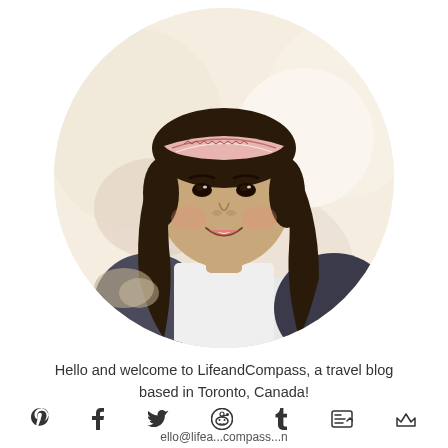[Figure (photo): Circular portrait photo of a young Asian woman smiling, wearing a pink/white patterned headband, white shirt, and dark jacket. Background is bright/outdoor. Photo is clipped in a circle.]
Hello and welcome to LifeandCompass, a travel blog based in Toronto, Canada!
ello@lifea...compass...n